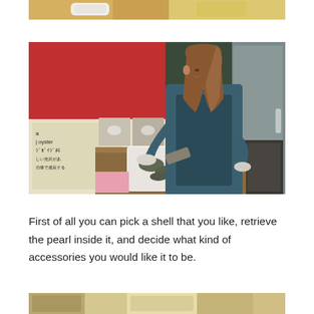[Figure (photo): Partial top edge of a photo showing items on an orange/yellow background, possibly pearl jewelry display]
[Figure (photo): A woman with long brown hair wearing a blue-green denim outfit and gloves, handling oyster shells over a white container. Behind her is a display board with Japanese text including 'oyster' in English and Japanese characters. The setting appears to be a pearl museum or workshop.]
First of all you can pick a shell that you like, retrieve the pearl inside it, and decide what kind of accessories you would like it to be.
[Figure (photo): Partial bottom edge of another photo, showing items on a light background]